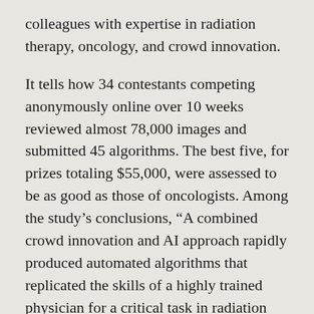colleagues with expertise in radiation therapy, oncology, and crowd innovation.
It tells how 34 contestants competing anonymously online over 10 weeks reviewed almost 78,000 images and submitted 45 algorithms. The best five, for prizes totaling $55,000, were assessed to be as good as those of oncologists. Among the study's conclusions, “A combined crowd innovation and AI approach rapidly produced automated algorithms that replicated the skills of a highly trained physician for a critical task in radiation therapy.”
In an email interview, we asked Lakhani, the Charles Edward Wilson Professor of Business Administration, and colleagues Dr. Eva Guinan and Jin Paik more about the study and results. They are